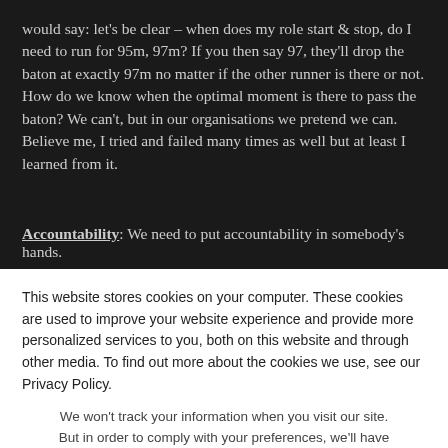would say: let's be clear – when does my role start & stop, do I need to run for 95m, 97m? If you then say 97, they'll drop the baton at exactly 97m no matter if the other runner is there or not. How do we know when the optimal moment is there to pass the baton? We can't, but in our organisations we pretend we can. Believe me, I tried and failed many times as well but at least I learned from it.
Accountability: We need to put accountability in somebody's hands.
This website stores cookies on your computer. These cookies are used to improve your website experience and provide more personalized services to you, both on this website and through other media. To find out more about the cookies we use, see our Privacy Policy.
We won't track your information when you visit our site. But in order to comply with your preferences, we'll have to use just one tiny cookie so that you're not asked to make this choice again.
ACCEPT
DECLINE